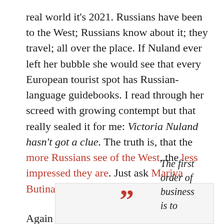real world it's 2021. Russians have been to the West; Russians know about it; they travel; all over the place. If Nuland ever left her bubble she would see that every European tourist spot has Russian-language guidebooks. I read through her screed with growing contempt but that really sealed it for me: Victoria Nuland hasn't got a clue. The truth is, that the more Russians see of the West, the less impressed they are. Just ask Mariya Butina.
Again a bit of reality leaks through, from time to time, but she is incapable of reflection:
The first order of business is to